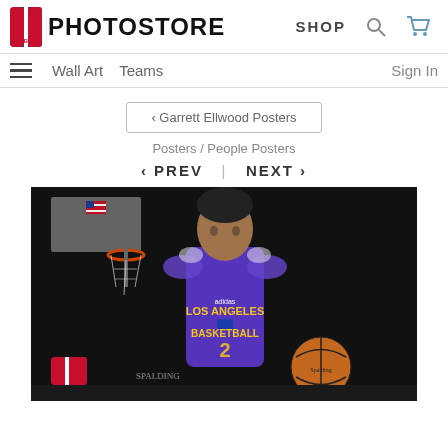NBA PHOTOSTORE  SHOP
Wall Art  Teams  Sign In
< Garrett Ellwood Posters
Posters / People Posters
< PREV  |  NEXT >
[Figure (photo): NBA player in Los Angeles Lakers purple practice jersey number 2 dribbling a basketball, with a basketball hoop visible in the background. Photo by Garrett Ellwood.]